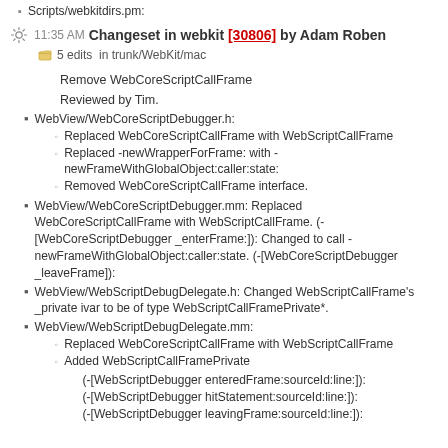Scripts/webkitdirs.pm:
11:35 AM Changeset in webkit [30806] by Adam Roben
5 edits in trunk/WebKit/mac
Remove WebCoreScriptCallFrame
Reviewed by Tim.
WebView/WebCoreScriptDebugger.h:
Replaced WebCoreScriptCallFrame with WebScriptCallFrame
Replaced -newWrapperForFrame: with -newFrameWithGlobalObject:caller:state:
Removed WebCoreScriptCallFrame interface.
WebView/WebCoreScriptDebugger.mm: Replaced WebCoreScriptCallFrame with WebScriptCallFrame. (-[WebCoreScriptDebugger _enterFrame:]): Changed to call -newFrameWithGlobalObject:caller:state. (-[WebCoreScriptDebugger _leaveFrame]):
WebView/WebScriptDebugDelegate.h: Changed WebScriptCallFrame's _private ivar to be of type WebScriptCallFramePrivate*.
WebView/WebScriptDebugDelegate.mm:
Replaced WebCoreScriptCallFrame with WebScriptCallFrame
Added WebScriptCallFramePrivate
(-[WebScriptDebugger enteredFrame:sourceId:line:]):
(-[WebScriptDebugger hitStatement:sourceId:line:]):
(-[WebScriptDebugger leavingFrame:sourceId:line:]):